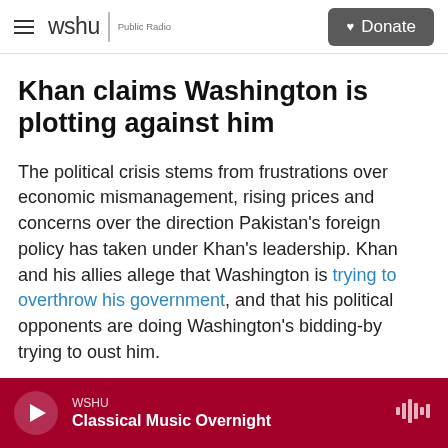wshu | Public Radio — Donate
Khan claims Washington is plotting against him
The political crisis stems from frustrations over economic mismanagement, rising prices and concerns over the direction Pakistan's foreign policy has taken under Khan's leadership. Khan and his allies allege that Washington is trying to overthrow his government, and that his political opponents are doing Washington's bidding-by trying to oust him.
WSHU — Classical Music Overnight